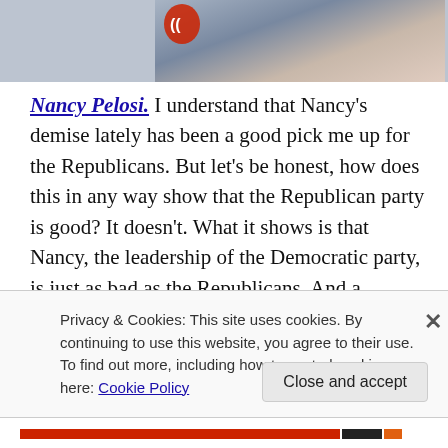[Figure (photo): Partial photo at top of page showing two people, with a red logo visible on left side]
Nancy Pelosi. I understand that Nancy's demise lately has been a good pick me up for the Republicans. But let's be honest, how does this in any way show that the Republican party is good? It doesn't. What it shows is that Nancy, the leadership of the Democratic party, is just as bad as the Republicans. And a hypocrite. There is a big difference between her bad actions proving the Republicans to be good and her bad actions simply putting
Privacy & Cookies: This site uses cookies. By continuing to use this website, you agree to their use.
To find out more, including how to control cookies, see here: Cookie Policy
Close and accept